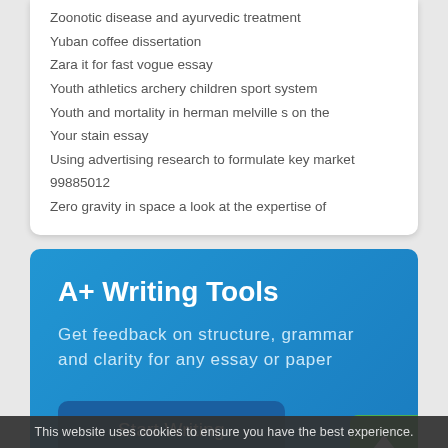Zoonotic disease and ayurvedic treatment
Yuban coffee dissertation
Zara it for fast vogue essay
Youth athletics archery children sport system
Youth and mortality in herman melville s on the
Your stain essay
Using advertising research to formulate key market
99885012
Zero gravity in space a look at the expertise of
A+ Writing Tools
Get feedback on structure, grammar and clarity for any essay or paper
Start Writing
This website uses cookies to ensure you have the best experience.